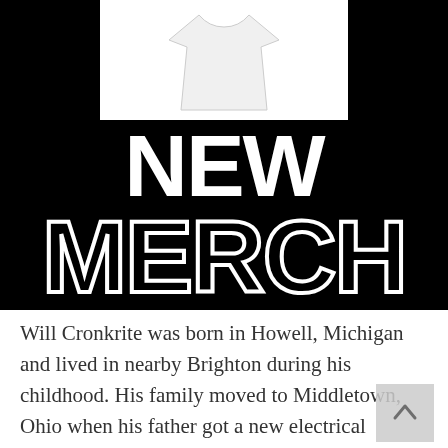[Figure (illustration): Black banner with white t-shirt graphic at top, large white 'NEW' text and outlined 'MERCH' text on black background]
Will Cronkrite was born in Howell, Michigan and lived in nearby Brighton during his childhood. His family moved to Middletown, Ohio when his father got a new electrical engineering job. He played sports like football and basketball, but was really drawn to go-kart racing. After acquiring his first kart